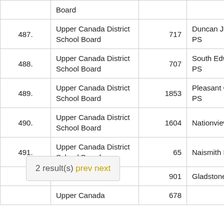| # | Board | Score | School |
| --- | --- | --- | --- |
|  | Board |  |  |
| 487. | Upper Canada District School Board | 717 | Duncan J Schoular PS |
| 488. | Upper Canada District School Board | 707 | South Edwardsburg PS |
| 489. | Upper Canada District School Board | 1853 | Pleasant Corners PS |
| 490. | Upper Canada District School Board | 1604 | Nationview PS |
| 491. | Upper Canada District School Board | 65 | Naismith PS |
|  | Upper Canada | 901 | Gladstone |
|  | Upper Canada | 678 |  |
2 result(s) prev next